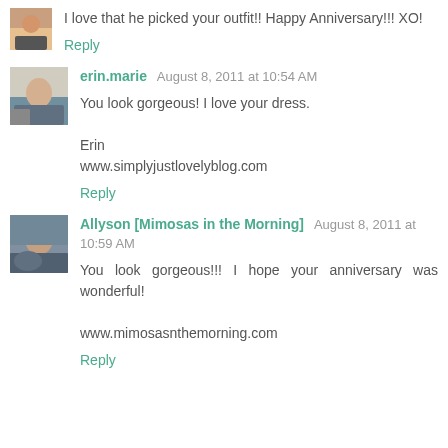I love that he picked your outfit!! Happy Anniversary!!! XO!
Reply
erin.marie  August 8, 2011 at 10:54 AM
You look gorgeous! I love your dress.

Erin
www.simplyjustlovelyblog.com
Reply
Allyson [Mimosas in the Morning]  August 8, 2011 at 10:59 AM
You look gorgeous!!! I hope your anniversary was wonderful!

www.mimosasnthemorning.com
Reply